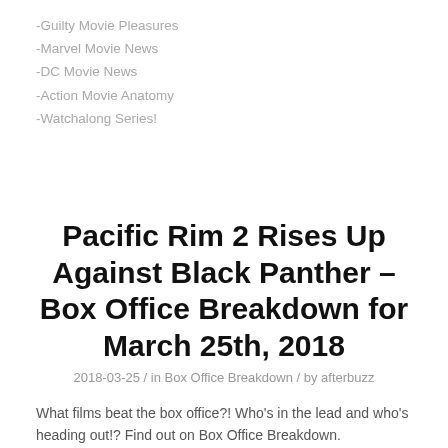-Guilty Movie Pleasures
-Marvel Movie News
-DC Movie News
-Action Movie Anatomy
-Watchalong Series!
Pacific Rim 2 Rises Up Against Black Panther – Box Office Breakdown for March 25th, 2018
2018-03-25 / in Box Office Breakdown / by afterbuzz
What films beat the box office?! Who's in the lead and who's heading out!? Find out on Box Office Breakdown.